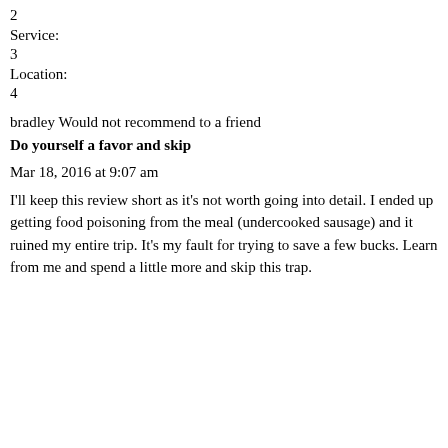2
Service:
3
Location:
4
bradley Would not recommend to a friend
Do yourself a favor and skip
Mar 18, 2016 at 9:07 am
I'll keep this review short as it's not worth going into detail. I ended up getting food poisoning from the meal (undercooked sausage) and it ruined my entire trip. It's my fault for trying to save a few bucks. Learn from me and spend a little more and skip this trap.